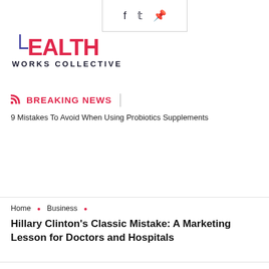Social sharing icons: f (Facebook), twitter, Pinterest
[Figure (logo): Health Works Collective logo - top]
BREAKING NEWS
9 Mistakes To Avoid When Using Probiotics Supplements
[Figure (logo): Health Works Collective logo - middle with hamburger menu icon]
Home • Business •
Hillary Clinton's Classic Mistake: A Marketing Lesson for Doctors and Hospitals